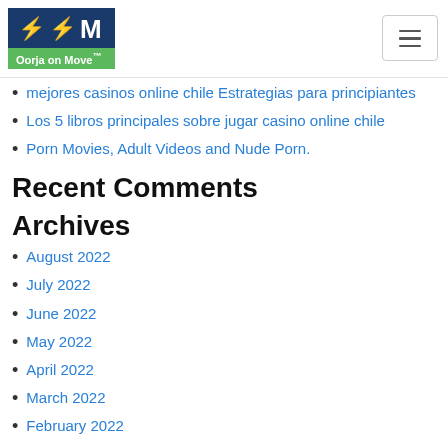Oorja on Move logo and hamburger menu
mejores casinos online chile Estrategias para principiantes
Los 5 libros principales sobre jugar casino online chile
Porn Movies, Adult Videos and Nude Porn.
Recent Comments
Archives
August 2022
July 2022
June 2022
May 2022
April 2022
March 2022
February 2022